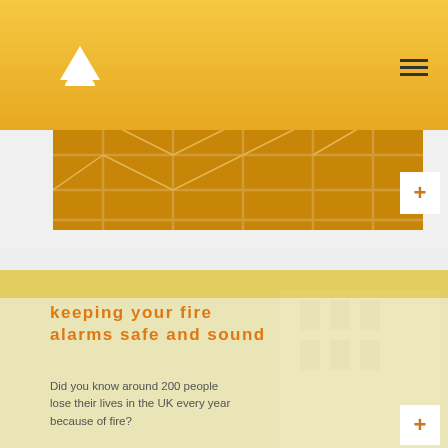scaffolding.
[Figure (photo): Scaffolding structure with metal poles and platforms, amber/orange tinted photo]
[Figure (logo): Triangle and semi-circle logo mark in white]
keeping your fire alarms safe and sound
Did you know around 200 people lose their lives in the UK every year because of fire?
[Figure (photo): Fire truck and firefighters responding to a building fire, amber/yellow tinted]